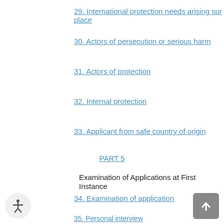29. International protection needs arising sur place
30. Actors of persecution or serious harm
31. Actors of protection
32. Internal protection
33. Applicant from safe country of origin
PART 5
Examination of Applications at First Instance
34. Examination of application
35. Personal interview
36. Applicants to whom section 15(4) applies
37. Withdrawal of application at first instance